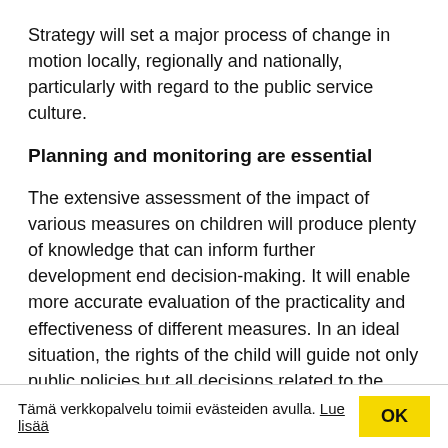Strategy will set a major process of change in motion locally, regionally and nationally, particularly with regard to the public service culture.
Planning and monitoring are essential
The extensive assessment of the impact of various measures on children will produce plenty of knowledge that can inform further development end decision-making. It will enable more accurate evaluation of the practicality and effectiveness of different measures. In an ideal situation, the rights of the child will guide not only public policies but all decisions related to the lives and wellbeing of our children.
Tämä verkkopalvelu toimii evästeiden avulla. Lue lisää  OK